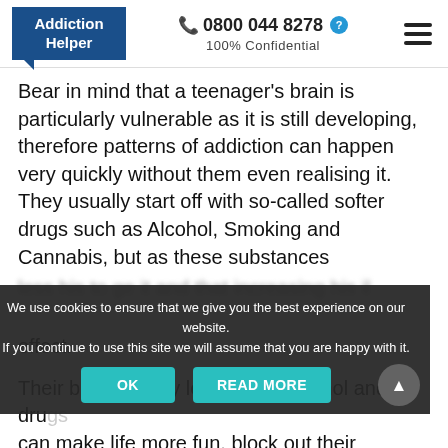Addiction Helper | 0800 044 8278 | 100% Confidential
Bear in mind that a teenager's brain is particularly vulnerable as it is still developing, therefore patterns of addiction can happen very quickly without them even realising it. They usually start off with so-called softer drugs such as Alcohol, Smoking and Cannabis, but as these substances
[blurred/obscured text behind cookie banner]
effect.
Their brain quickly learns that alcohol and drugs can make life more fun, block out their problems and change the way that they feel when they are
[Figure (screenshot): Cookie consent banner overlay with dark background, 'OK' and 'READ MORE' teal buttons, and a scroll-up arrow button on the right.]